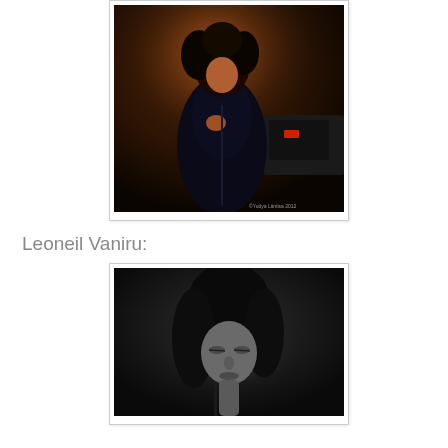[Figure (photo): Concert photo of a singer with curly dark hair performing on stage, holding a microphone stand, wearing a dark leather coat, dramatic stage lighting. Watermark: ©Yudya Litmisa 2012]
Leoneil Vaniru:
[Figure (photo): Black and white portrait photo of a young person with long dark hair, looking downward, against a dark background]